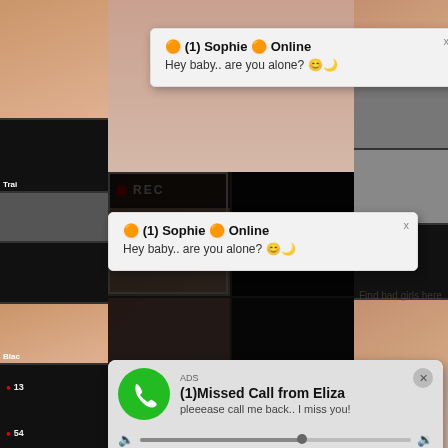[Figure (screenshot): Background grid of adult content thumbnail images forming a video gallery layout]
🟠 (1) Sophie 🟠 Online
Hey baby.. are you alone? 😊🌙
🟠 (1) Sophie 🟠 Online
Hey baby.. are you alone? 😊🌙
Dating
Find bad girls here
● REC
ADS
(1)Missed Call from Eliza
pleeease call me back.. I miss you!
0:00
3:23
Trai...
🔴 13...
Blac...
🔴 54...